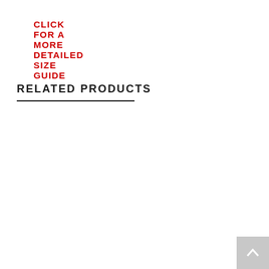CLICK FOR A MORE DETAILED SIZE GUIDE
RELATED PRODUCTS